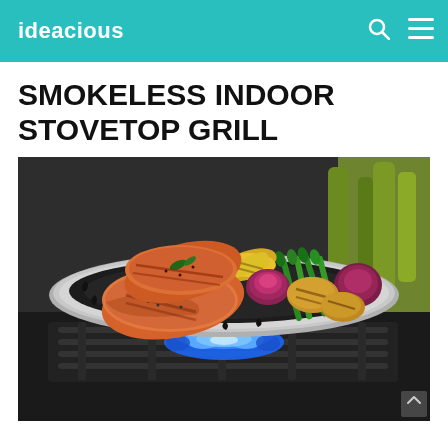ideacious
SMOKELESS INDOOR STOVETOP GRILL
[Figure (photo): A round smokeless indoor stovetop grill pan placed on a gas stove burner with blue flame visible beneath. The grill holds grilled salmon fillets, corn on the cob, asparagus spears, red onion halves, and roasted potatoes.]